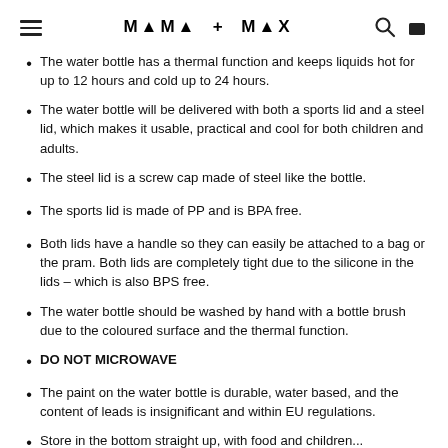MAMA + MAX
The water bottle has a thermal function and keeps liquids hot for up to 12 hours and cold up to 24 hours.
The water bottle will be delivered with both a sports lid and a steel lid, which makes it usable, practical and cool for both children and adults.
The steel lid is a screw cap made of steel like the bottle.
The sports lid is made of PP and is BPA free.
Both lids have a handle so they can easily be attached to a bag or the pram. Both lids are completely tight due to the silicone in the lids – which is also BPS free.
The water bottle should be washed by hand with a bottle brush due to the coloured surface and the thermal function.
DO NOT MICROWAVE
The paint on the water bottle is durable, water based, and the content of leads is insignificant and within EU regulations.
Store in the bottom straight up, with food and children...